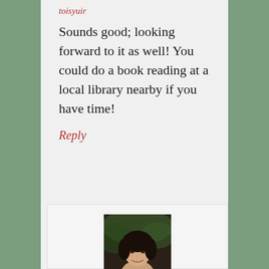toisyuir
Sounds good; looking forward to it as well! You could do a book reading at a local library nearby if you have time!
Reply
[Figure (photo): Small portrait photo of a woman with dark curly hair, smiling, outdoors]
Susan